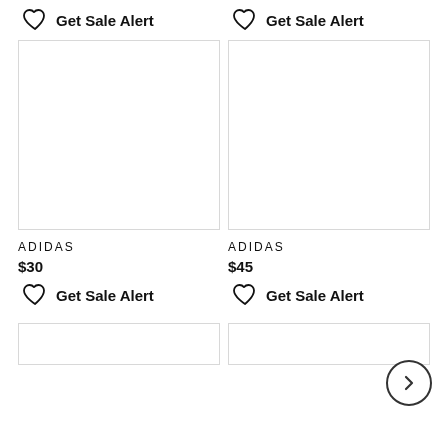Get Sale Alert
Get Sale Alert
[Figure (photo): Product image placeholder - left top]
[Figure (photo): Product image placeholder - right top]
ADIDAS
$30
Get Sale Alert
ADIDAS
$45
Get Sale Alert
[Figure (photo): Partial product image placeholder - left bottom]
[Figure (photo): Partial product image placeholder - right bottom]